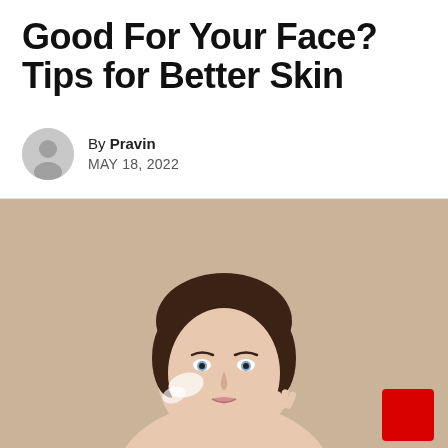Good For Your Face? Tips for Better Skin
By Pravin
MAY 18, 2022
[Figure (photo): Woman with dark hair pulled back, applying cream to her cheek, looking at camera against beige background]